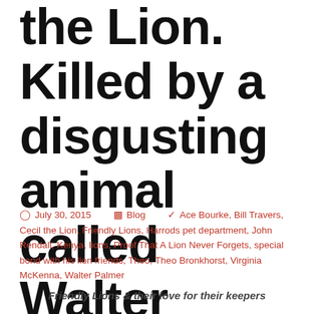the Lion. Killed by a disgusting animal called Walter Palmer
July 30, 2015  Blog  Ace Bourke, Bill Travers, Cecil the Lion, Friendly Lions, Harrods pet department, John Rendall, Kenya, lions, Proof That A Lion Never Forgets, special bond with his lion friends, Theo, Theo Bronkhorst, Virginia McKenna, Walter Palmer
Friendly Lions & their love for their keepers